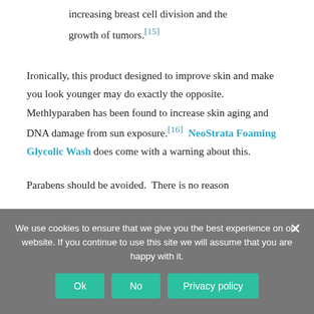increasing breast cell division and the growth of tumors.[15]
Ironically, this product designed to improve skin and make you look younger may do exactly the opposite. Methlyparaben has been found to increase skin aging and DNA damage from sun exposure.[16] NeoStrata Foaming Glycolic Wash does come with a warning about this.
Parabens should be avoided. There is no reason
We use cookies to ensure that we give you the best experience on our website. If you continue to use this site we will assume that you are happy with it.